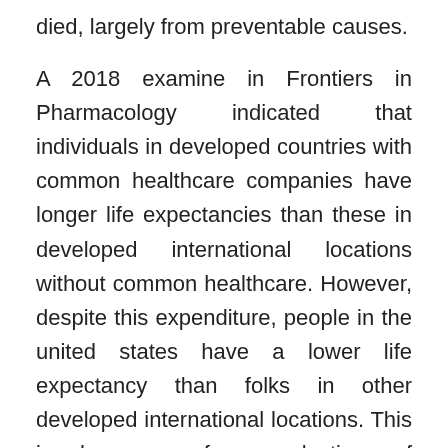died, largely from preventable causes.
A 2018 examine in Frontiers in Pharmacology indicated that individuals in developed countries with common healthcare companies have longer life expectancies than these in developed international locations without common healthcare. However, despite this expenditure, people in the united states have a lower life expectancy than folks in other developed international locations. This is because of a selection of components, including access to healthcare and way of life choices. Many governments view occupational health as a social problem and have shaped public